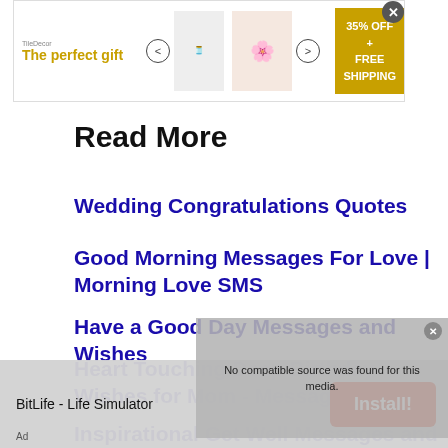[Figure (infographic): Advertisement banner: 'The perfect gift' with gift product images, navigation arrows, and a gold '35% OFF + FREE SHIPPING' box. Close button top right.]
Read More
Wedding Congratulations Quotes
Good Morning Messages For Love | Morning Love SMS
Have a Good Day Messages and Wishes
Heart Touching Deep Birthday Wishes for Mom - Messages &...
Inspirational Get Well Messages and Wishes
[Figure (screenshot): Overlay popup with grey background showing 'No compatible source was found for this media.' error message]
[Figure (infographic): Bottom ad banner: BitLife - Life Simulator with red 'Install!' button and 'Ad' label]